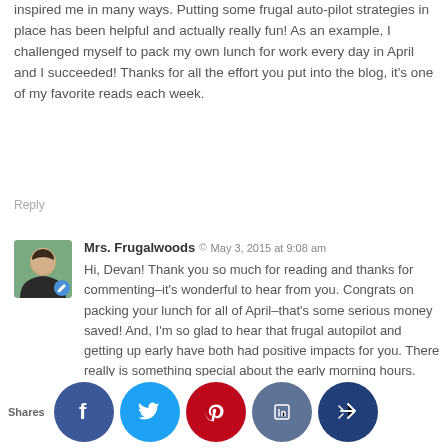inspired me in many ways. Putting some frugal auto-pilot strategies in place has been helpful and actually really fun! As an example, I challenged myself to pack my own lunch for work every day in April and I succeeded! Thanks for all the effort you put into the blog, it's one of my favorite reads each week.
Reply
Mrs. Frugalwoods  ©  May 3, 2015 at 9:08 am
Hi, Devan! Thank you so much for reading and thanks for commenting–it's wonderful to hear from you. Congrats on packing your lunch for all of April–that's some serious money saved! And, I'm so glad to hear that frugal autopilot and getting up early have both had positive impacts for you. There really is something special about the early morning hours. Even though I'm still a bit sleepy, I find that I'm often at my most creative (in fact, this post was written in the early morning hours : ) ). Sounds like you and your husband have a great plan in place to be able to leave the weekly grid–that's awesome. I wish you all the best and I hope you'll share more
Shares